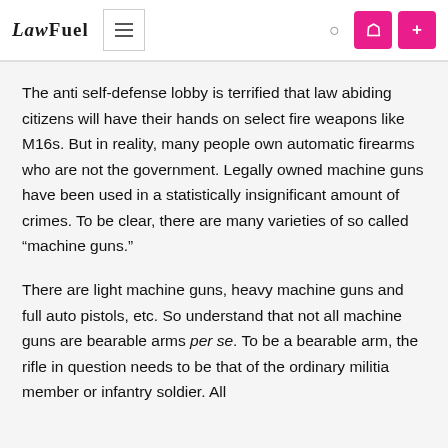LAWFUEL
The anti self-defense lobby is terrified that law abiding citizens will have their hands on select fire weapons like M16s. But in reality, many people own automatic firearms who are not the government. Legally owned machine guns have been used in a statistically insignificant amount of crimes. To be clear, there are many varieties of so called “machine guns.”
There are light machine guns, heavy machine guns and full auto pistols, etc. So understand that not all machine guns are bearable arms per se. To be a bearable arm, the rifle in question needs to be that of the ordinary militia member or infantry soldier. All